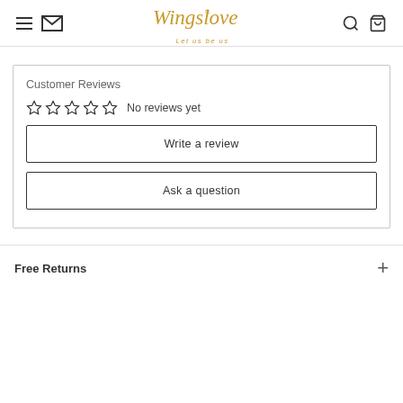Wingslove — Let us be us
Customer Reviews
No reviews yet
Write a review
Ask a question
Free Returns